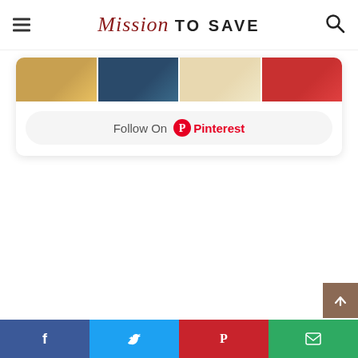Mission TO SAVE
[Figure (screenshot): Pinterest widget card showing four food photo thumbnails and a 'Follow On Pinterest' button]
Social share bar: Facebook, Twitter, Pinterest, Email